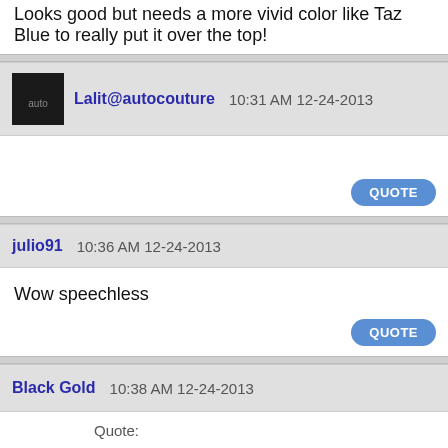Looks good but needs a more vivid color like Taz Blue to really put it over the top!
QUOTE
Lalit@autocouture 10:31 AM 12-24-2013
QUOTE
julio91 10:36 AM 12-24-2013
Wow speechless
QUOTE
Black Gold 10:38 AM 12-24-2013
Quote: